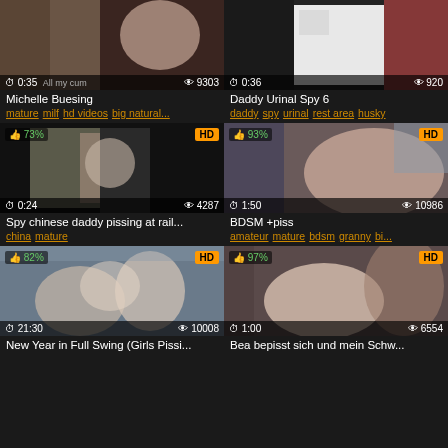[Figure (screenshot): Video thumbnail grid showing 6 adult video thumbnails with titles and tags]
Michelle Buesing
mature milf hd videos big natural...
Daddy Urinal Spy 6
daddy spy urinal rest area husky
Spy chinese daddy pissing at rail...
china mature
BDSM +piss
amateur mature bdsm granny bi...
New Year in Full Swing (Girls Pissi...
Bea bepisst sich und mein Schw...